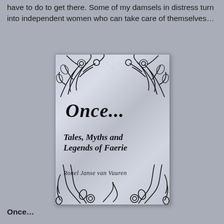have to do to get there. Some of my damsels in distress turn into independent women who can take care of themselves…
[Figure (illustration): Book cover of 'Once... Tales, Myths and Legends of Faerie' by Ronel Janse van Vuuren. Silver/grey background with ornate black floral and vine decorations at top and bottom. Large italic title 'Once...' in the upper middle, with subtitle 'Tales, Myths and Legends of Faerie' below, and author name 'Ronel Janse van Vuuren' near the bottom.]
Once…